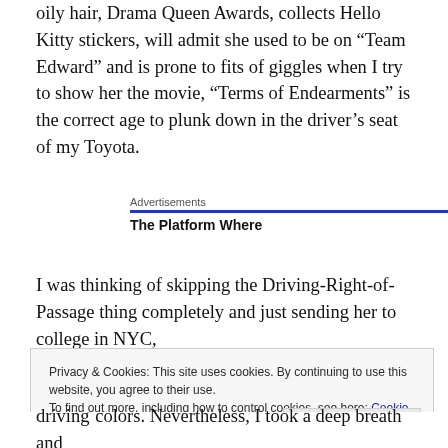oily hair, Drama Queen Awards, collects Hello Kitty stickers, will admit she used to be on “Team Edward” and is prone to fits of giggles when I try to show her the movie, “Terms of Endearments” is the correct age to plunk down in the driver’s seat of my Toyota.
Advertisements
The Platform Where
I was thinking of skipping the Driving-Right-of-Passage thing completely and just sending her to college in NYC,
Privacy & Cookies: This site uses cookies. By continuing to use this website, you agree to their use.
To find out more, including how to control cookies, see here: Cookie Policy
driving colors. Nevertheless, I took a deep breath and